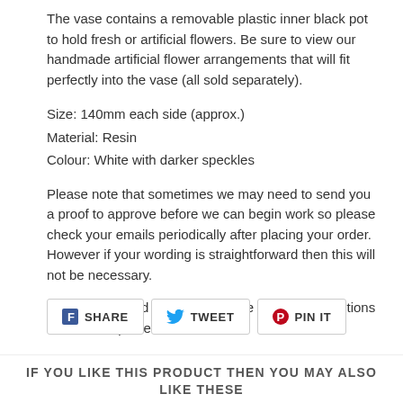The vase contains a removable plastic inner black pot to hold fresh or artificial flowers. Be sure to view our handmade artificial flower arrangements that will fit perfectly into the vase (all sold separately).
Size: 140mm each side (approx.)
Material: Resin
Colour: White with darker speckles
Please note that sometimes we may need to send you a proof to approve before we can begin work so please check your emails periodically after placing your order. However if your wording is straightforward then this will not be necessary.
This item is hand finished so some minor imperfections are to be expected.
SHARE   TWEET   PIN IT
IF YOU LIKE THIS PRODUCT THEN YOU MAY ALSO
LIKE THESE